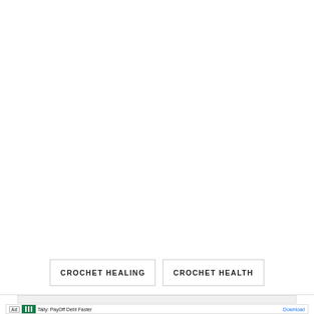[Figure (screenshot): Large blank white area occupying upper 80% of the screen, typical of a web page with content scrolled out of view]
CROCHET HEALING
CROCHET HEALTH
[Figure (screenshot): Partial view of a navigation bar or additional content row at the very bottom, partially cut off]
[Figure (screenshot): Ad banner at bottom: 'Ad' label, Tally app logo, blue/yellow graphic, text 'Tally: PayOff Debt Faster', 'Download' link button in blue]